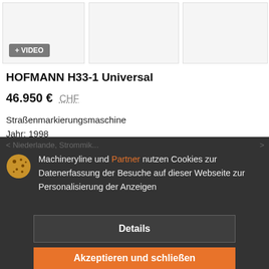[Figure (photo): Product image thumbnail with + VIDEO badge overlay]
[Figure (photo): Product image thumbnail (center)]
[Figure (photo): Product image thumbnail (right)]
HOFMANN H33-1 Universal
46.950 €  CHF
Straßenmarkierungsmaschine
Jahr: 1998
Machineryline und Partner nutzen Cookies zur Datenerfassung der Besuche auf dieser Webseite zur Personalisierung der Anzeigen
Details
Akzeptieren und schließen